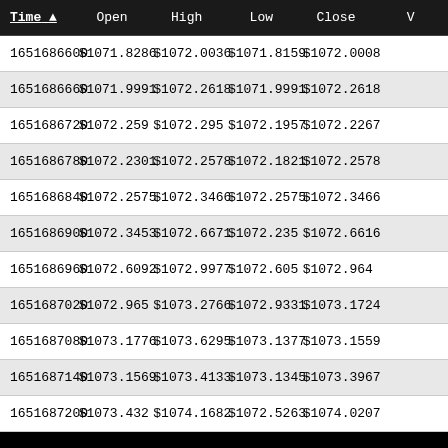| Time ▲ | Open | High | Low | Close | V |
| --- | --- | --- | --- | --- | --- |
| 1651686600 | $1071.8286 | $1072.0036 | $1071.8159 | $1072.0008 |
| 1651686660 | $1071.9991 | $1072.2618 | $1071.9991 | $1072.2618 |
| 1651686720 | $1072.259 | $1072.295 | $1072.1957 | $1072.2267 |
| 1651686780 | $1072.2301 | $1072.2578 | $1072.1821 | $1072.2578 |
| 1651686840 | $1072.2575 | $1072.3466 | $1072.2575 | $1072.3466 |
| 1651686900 | $1072.3453 | $1072.6671 | $1072.235 | $1072.6616 |
| 1651686960 | $1072.6092 | $1072.9977 | $1072.605 | $1072.964 |
| 1651687020 | $1072.965 | $1073.2766 | $1072.9331 | $1073.1724 |
| 1651687080 | $1073.1776 | $1073.6295 | $1073.1377 | $1073.1559 |
| 1651687140 | $1073.1569 | $1073.4133 | $1073.1345 | $1073.3967 |
| 1651687200 | $1073.432 | $1074.1682 | $1072.5263 | $1074.0207 |